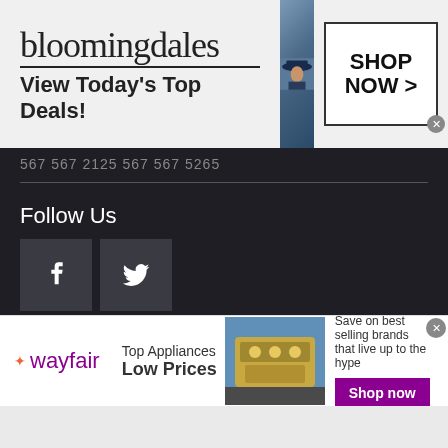[Figure (screenshot): Bloomingdale's advertisement banner: logo text 'bloomingdales', tagline 'View Today's Top Deals!', fashion model image, and 'SHOP NOW >' button box]
567 567 2125  567 567 5265
Follow Us
[Figure (illustration): Facebook icon (f) in dark square]
[Figure (illustration): Twitter bird icon in dark square]
MAIN MENU
QUICK LINKS
Homepage
Contact
[Figure (screenshot): Wayfair advertisement: wayfair logo, 'Top Appliances Low Prices', stove image, 'Save on best selling brands that live up to the hype', purple 'Shop now' button]